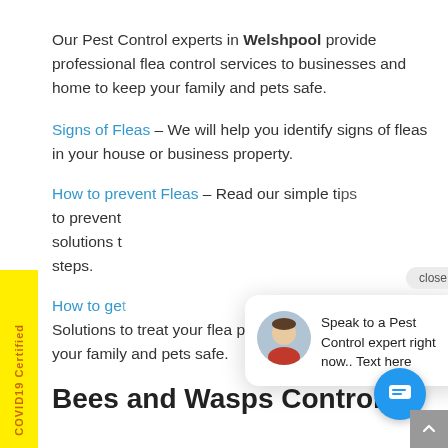Our Pest Control experts in Welshpool provide professional flea control services to businesses and home to keep your family and pets safe.
Signs of Fleas – We will help you identify signs of fleas in your house or business property.
How to prevent Fleas – Read our simple tips to prevent solutions to steps.
How to get Solutions to treat your flea problem and keep your family and pets safe.
[Figure (other): COVID19 Certified badge on yellow vertical banner on left side]
[Figure (other): Chat popup with avatar photo, close button, and message: Speak to a Pest Control expert right now.. Text here]
[Figure (other): Blue circular chat button with message icon]
[Figure (other): Grey scroll-to-top button]
Bees and Wasps Control in